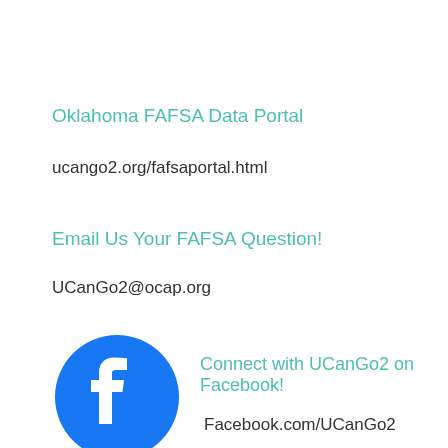Oklahoma FAFSA Data Portal
ucango2.org/fafsaportal.html
Email Us Your FAFSA Question!
UCanGo2@ocap.org
[Figure (logo): Facebook logo icon - blue circle with white 'f' letter]
Connect with UCanGo2 on Facebook!
Facebook.com/UCanGo2